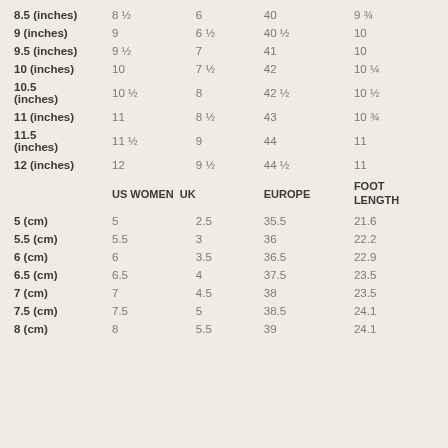|  | US WOMEN | UK | EUROPE | FOOT LENGTH |
| --- | --- | --- | --- | --- |
| 8.5 (inches) | 8 ½ | 6 | 40 | 9 ¾ |
| 9 (inches) | 9 | 6 ½ | 40 ½ | 10 |
| 9.5 (inches) | 9 ½ | 7 | 41 | 10 |
| 10 (inches) | 10 | 7 ½ | 42 | 10 ¼ |
| 10.5 (inches) | 10 ½ | 8 | 42 ½ | 10 ½ |
| 11 (inches) | 11 | 8 ½ | 43 | 10 ¾ |
| 11.5 (inches) | 11 ½ | 9 | 44 | 11 |
| 12 (inches) | 12 | 9 ½ | 44 ½ | 11 |
| 5 (cm) | 5 | 2.5 | 35.5 | 21.6 |
| 5.5 (cm) | 5.5 | 3 | 36 | 22.2 |
| 6 (cm) | 6 | 3.5 | 36.5 | 22.9 |
| 6.5 (cm) | 6.5 | 4 | 37.5 | 23.5 |
| 7 (cm) | 7 | 4.5 | 38 | 23.5 |
| 7.5 (cm) | 7.5 | 5 | 38.5 | 24.1 |
| 8 (cm) | 8 | 5.5 | 39 | 24.1 |